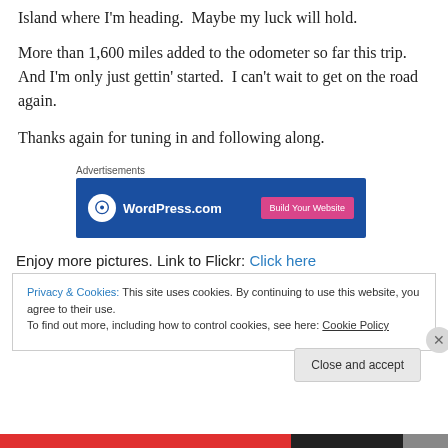Island where I'm heading.  Maybe my luck will hold.
More than 1,600 miles added to the odometer so far this trip.  And I'm only just gettin' started.  I can't wait to get on the road again.
Thanks again for tuning in and following along.
[Figure (other): WordPress.com advertisement banner with blue background, WordPress logo on left and pink 'Build Your Website' button on right]
Enjoy more pictures. Link to Flickr: Click here
Privacy & Cookies: This site uses cookies. By continuing to use this website, you agree to their use.
To find out more, including how to control cookies, see here: Cookie Policy